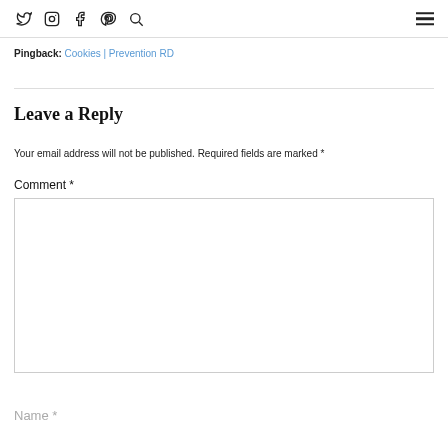Twitter Instagram Facebook Pinterest Search Hamburger menu
Pingback: Cookies | Prevention RD
Leave a Reply
Your email address will not be published. Required fields are marked *
Comment *
Name *